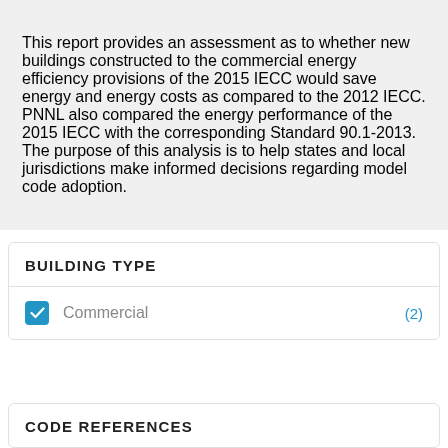This report provides an assessment as to whether new buildings constructed to the commercial energy efficiency provisions of the 2015 IECC would save energy and energy costs as compared to the 2012 IECC. PNNL also compared the energy performance of the 2015 IECC with the corresponding Standard 90.1-2013. The purpose of this analysis is to help states and local jurisdictions make informed decisions regarding model code adoption.
BUILDING TYPE
Commercial (2)
CODE REFERENCES